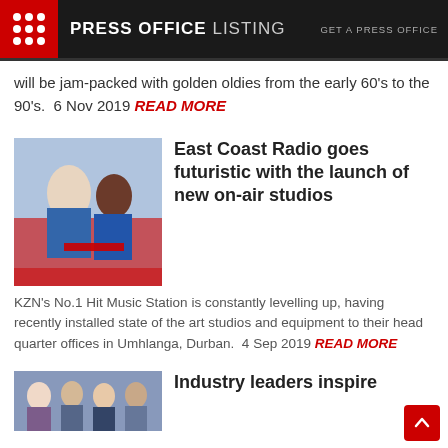PRESS OFFICE LISTING | GET A PRESS OFFICE
will be jam-packed with golden oldies from the early 60's to the 90's.  6 Nov 2019 READ MORE
[Figure (photo): Two people, one in blue shirt and one in blue top, posing with a red ribbon or fabric]
East Coast Radio goes futuristic with the launch of new on-air studios
KZN's No.1 Hit Music Station is constantly levelling up, having recently installed state of the art studios and equipment to their head quarter offices in Umhlanga, Durban.  4 Sep 2019 READ MORE
[Figure (photo): Group of people photographed together]
Industry leaders inspire